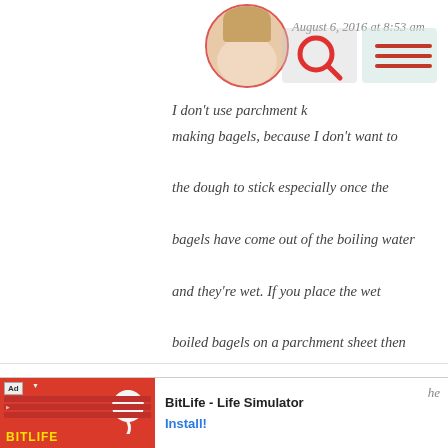August 6, 2016 at 8:53 am
I don't use parchment making bagels, because I don't want to the dough to stick especially once the bagels have come out of the boiling water and they're wet. If you place the wet boiled bagels on a parchment sheet then bake in the oven, the paper will bake onto the bagels and stick horribly.
Reply
Rita Zelig — August 5, 2016 at 9:23 am
I love the technique you applied in creating these
[Figure (screenshot): Ad banner for BitLife - Life Simulator app with red background, sperm icon, yellow BITLIFE logo, and Install! button]